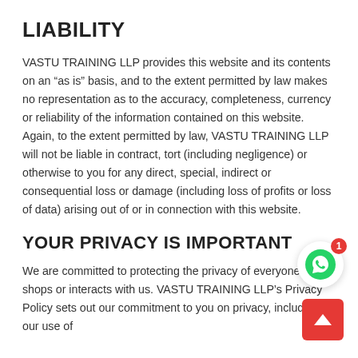LIABILITY
VASTU TRAINING LLP provides this website and its contents on an “as is” basis, and to the extent permitted by law makes no representation as to the accuracy, completeness, currency or reliability of the information contained on this website. Again, to the extent permitted by law, VASTU TRAINING LLP will not be liable in contract, tort (including negligence) or otherwise to you for any direct, special, indirect or consequential loss or damage (including loss of profits or loss of data) arising out of or in connection with this website.
YOUR PRIVACY IS IMPORTANT
We are committed to protecting the privacy of everyone who shops or interacts with us. VASTU TRAINING LLP’s Privacy Policy sets out our commitment to you on privacy, including our use of